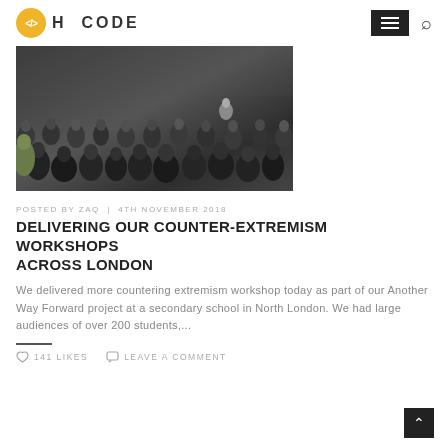H CODE
[Figure (photo): Audience of students seated, viewed from behind, in a darkened hall or auditorium.]
POSTED BY ZAQ | 4TH NOVEMBER 2018
DELIVERING OUR COUNTER-EXTREMISM WORKSHOPS ACROSS LONDON
We delivered more countering extremism workshop today as part of our Another Way Forward project at a secondary school in North London. We had large audiences of over 200 students,...
141 LIKES   LEAVE A COMMENT